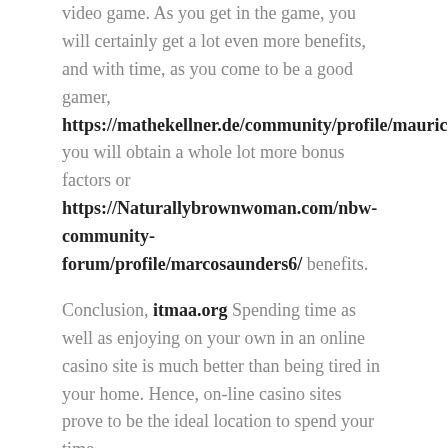video game. As you get in the game, you will certainly get a lot even more benefits, and with time, as you come to be a good gamer, https://mathekellner.de/community/profile/mauricesharrow you will obtain a whole lot more bonus factors or https://Naturallybrownwoman.com/nbw-community-forum/profile/marcosaunders6/ benefits.
Conclusion, itmaa.org Spending time as well as enjoying on your own in an online casino site is much better than being tired in your home. Hence, on-line casino sites prove to be the ideal location to spend your time.
Best Real Money Online Casinos